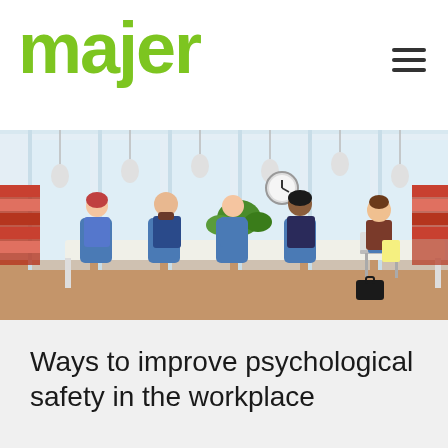majer
[Figure (illustration): Cartoon illustration of a workplace meeting scene: several employees sitting around a conference table in an open-plan office, with bookshelves, pendant lights, a plant, a clock on the wall, and a person sitting separately to the right as if being interviewed or presenting.]
Ways to improve psychological safety in the workplace